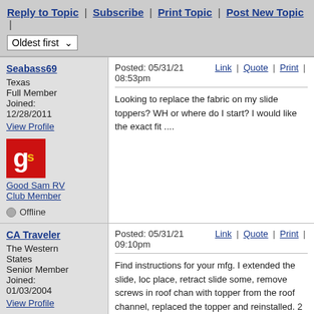Reply to Topic | Subscribe | Print Topic | Post New Topic | Oldest first
Seabass69
Texas
Full Member
Joined: 12/28/2011
View Profile
Good Sam RV Club Member
Offline
Posted: 05/31/21 08:53pm  Link | Quote | Print |
Looking to replace the fabric on my slide toppers? WH or where do I start? I would like the exact fit ....
CA Traveler
The Western States
Senior Member
Joined: 01/03/2004
View Profile
Posted: 05/31/21 09:10pm  Link | Quote | Print |
Find instructions for your mfg. I extended the slide, loc place, retract slide some, remove screws in roof chan with topper from the roof channel, replaced the topper and reinstalled. 2 people and ladders were needed. 4 toppers.